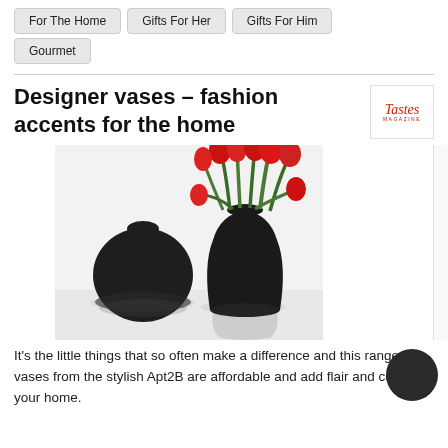For The Home
Gifts For Her
Gifts For Him
Gourmet
Designer vases – fashion accents for the home
[Figure (photo): Two matte black designer vases — a round squat vase and a taller vase — with red tulips in the taller one, on a light reflective surface]
It's the little things that so often make a difference and this range of vases from the stylish Apt2B are affordable and add flair and color to your home.